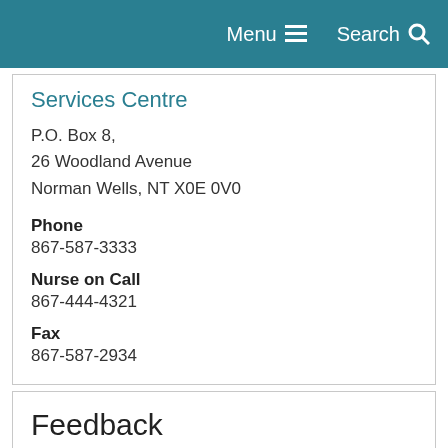Menu  Search
Services Centre
P.O. Box 8,
26 Woodland Avenue
Norman Wells, NT X0E 0V0
Phone
867-587-3333
Nurse on Call
867-444-4321
Fax
867-587-2934
Feedback
Have a suggestion to improve the site? Please give us your feedback.